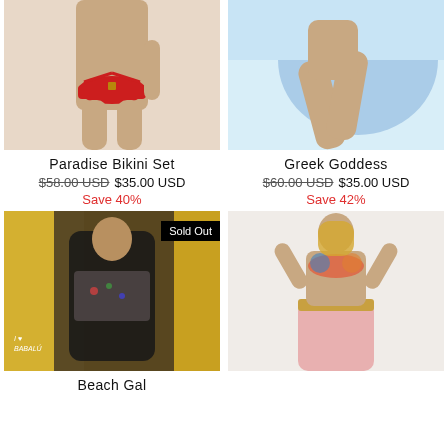[Figure (photo): Model wearing red bikini set, cropped at torso]
[Figure (photo): Model wearing swimwear, seated with blue beach background]
Paradise Bikini Set
$58.00 USD  $35.00 USD
Save 40%
Greek Goddess
$60.00 USD  $35.00 USD
Save 42%
[Figure (photo): Model wearing colorful beach cover-up dress, in front of yellow wall. 'Sold Out' badge. I ❤ BABALÚ text.]
[Figure (photo): Model wearing colorful bikini top and pink yoga pants]
Beach Gal